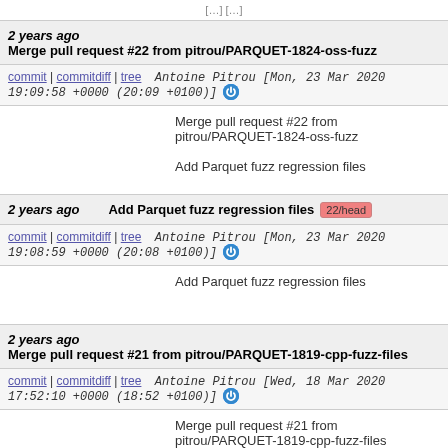[...] [...]
2 years ago   Merge pull request #22 from pitrou/PARQUET-1824-oss-fuzz
commit | commitdiff | tree   Antoine Pitrou [Mon, 23 Mar 2020 19:09:58 +0000 (20:09 +0100)]
Merge pull request #22 from pitrou/PARQUET-1824-oss-fuzz

Add Parquet fuzz regression files
2 years ago   Add Parquet fuzz regression files  22/head
commit | commitdiff | tree   Antoine Pitrou [Mon, 23 Mar 2020 19:08:59 +0000 (20:08 +0100)]
Add Parquet fuzz regression files
2 years ago   Merge pull request #21 from pitrou/PARQUET-1819-cpp-fuzz-files
commit | commitdiff | tree   Antoine Pitrou [Wed, 18 Mar 2020 17:52:10 +0000 (18:52 +0100)]
Merge pull request #21 from pitrou/PARQUET-1819-cpp-fuzz-files